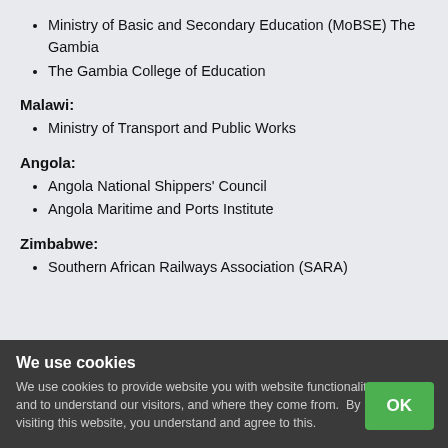Ministry of Basic and Secondary Education (MoBSE) The Gambia
The Gambia College of Education
Malawi:
Ministry of Transport and Public Works
Angola:
Angola National Shippers' Council
Angola Maritime and Ports Institute
Zimbabwe:
Southern African Railways Association (SARA)
We use cookies
We use cookies to provide website you with website functionality, and to understand our visitors, and where they come from.  By visiting this website, you understand and agree to this.